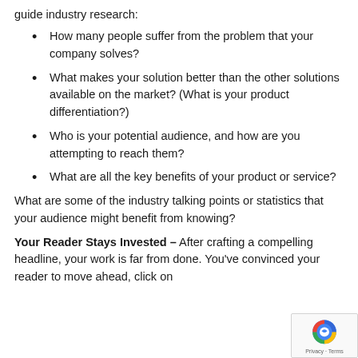guide industry research:
How many people suffer from the problem that your company solves?
What makes your solution better than the other solutions available on the market? (What is your product differentiation?)
Who is your potential audience, and how are you attempting to reach them?
What are all the key benefits of your product or service?
What are some of the industry talking points or statistics that your audience might benefit from knowing?
Your Reader Stays Invested – After crafting a compelling headline, your work is far from done. You've convinced your reader to move ahead, click on